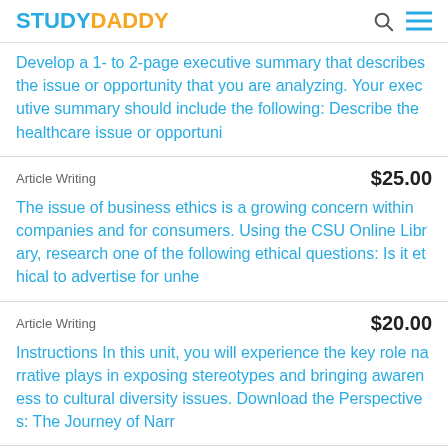STUDYDADDY
Develop a 1- to 2-page executive summary that describes the issue or opportunity that you are analyzing. Your executive summary should include the following: Describe the healthcare issue or opportuni
Article Writing  $25.00
The issue of business ethics is a growing concern within companies and for consumers. Using the CSU Online Library, research one of the following ethical questions: Is it ethical to advertise for unhe
Article Writing  $20.00
Instructions In this unit, you will experience the key role narrative plays in exposing stereotypes and bringing awareness to cultural diversity issues. Download the Perspectives: The Journey of Narr
Article Writing  $10.00